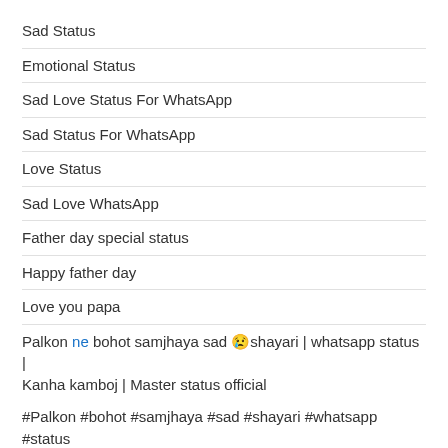Sad Status
Emotional Status
Sad Love Status For WhatsApp
Sad Status For WhatsApp
Love Status
Sad Love WhatsApp
Father day special status
Happy father day
Love you papa
Palkon ne bohot samjhaya sad 😢shayari | whatsapp status | Kanha kamboj | Master status official
#Palkon #bohot #samjhaya #sad #shayari #whatsapp #status #Kanha #kamboj #Master #status #official
Palkon ne bohot samjhaya sad 😢shayari | whatsapp status | Kanha kamboj | Master status official
Youtube